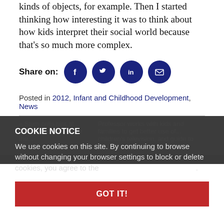kinds of objects, for example. Then I started thinking how interesting it was to think about how kids interpret their social world because that's so much more complex.
Share on: [Facebook] [Twitter] [LinkedIn] [Email]
Posted in 2012, Infant and Childhood Development, News
COOKIE NOTICE
We use cookies on this site. By continuing to browse without changing your browser settings to block or delete cookies, you agree to the UW–Madison Privacy Notice.
GOT IT!